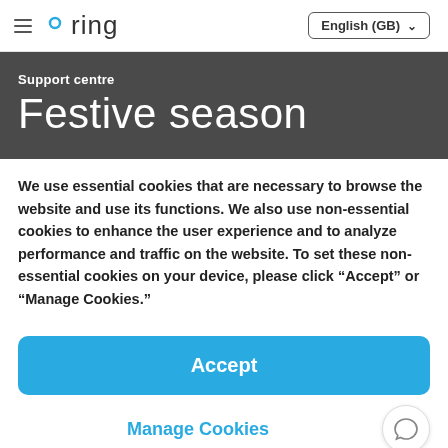ring | English (GB)
Support centre
Festive season
We use essential cookies that are necessary to browse the website and use its functions. We also use non-essential cookies to enhance the user experience and to analyze performance and traffic on the website. To set these non-essential cookies on your device, please click “Accept” or “Manage Cookies.”
Accept
Manage Cookies